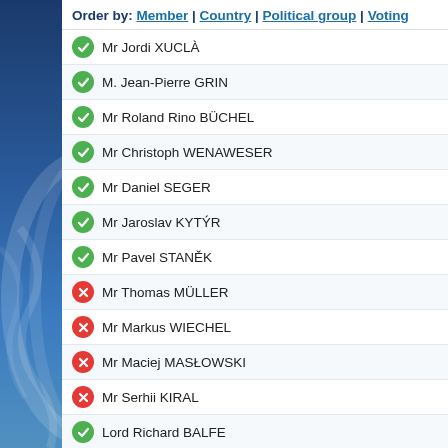Order by: Member | Country | Political group | Voting
Mr Jordi XUCLÀ (green check)
M. Jean-Pierre GRIN (green check)
Mr Roland Rino BÜCHEL (green check)
Mr Christoph WENAWESER (green check)
Mr Daniel SEGER (green check)
Mr Jaroslav KYTÝR (green check)
Mr Pavel STANĚK (green check)
Mr Thomas MÜLLER (red X)
Mr Markus WIECHEL (red X)
Mr Maciej MASŁOWSKI (red X)
Mr Serhii KIRAL (red X)
Lord Richard BALFE (green check)
Ms Miroslava NĚMCOVÁ (green check)
Mr Valeriu GHILETCHI (green check)
Ms Ingjerd SCHOU (green check)
Mr Killion MUNYAMA (green check)